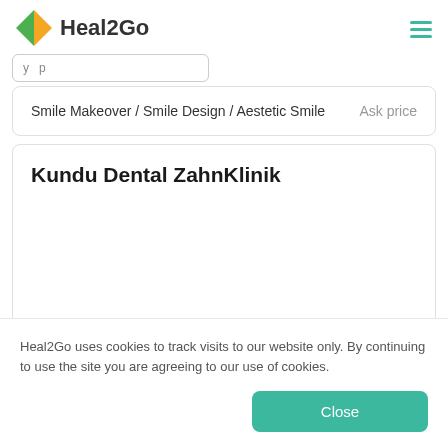Heal2Go
Smile Makeover / Smile Design / Aestetic Smile   Ask price
Kundu Dental ZahnKlinik
Heal2Go uses cookies to track visits to our website only. By continuing to use the site you are agreeing to our use of cookies.